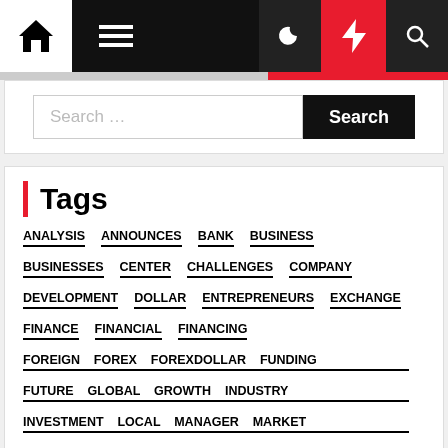Navigation bar with home, menu, dark mode, lightning, and search icons
Search …
Tags
ANALYSIS
ANNOUNCES
BANK
BUSINESS
BUSINESSES
CENTER
CHALLENGES
COMPANY
DEVELOPMENT
DOLLAR
ENTREPRENEURS
EXCHANGE
FINANCE
FINANCIAL
FINANCING
FOREIGN
FOREX
FOREXDOLLAR
FUNDING
FUTURE
GLOBAL
GROWTH
INDUSTRY
INVESTMENT
LOCAL
MANAGER
MARKET
MILLION
NAMES
NEWS
OPPORTUNITIES